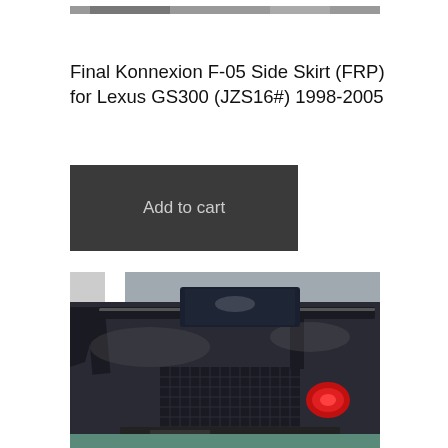[Figure (photo): Partial top edge of a car image, cropped at the top of the page]
Final Konnexion F-05 Side Skirt (FRP) for Lexus GS300 (JZS16#) 1998-2005
[Figure (other): Add to cart button — dark gray rectangular button with 'Add to cart' text]
[Figure (photo): Photo of a dark carbon fiber / metallic car body showing the rear trunk area with a large wing spoiler and red tail light visible]